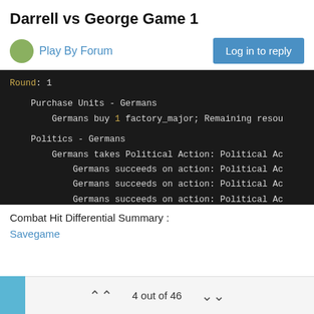Darrell vs George Game 1
Play By Forum
[Figure (screenshot): Dark terminal/log code block showing game round 1 data: Purchase Units - Germans, Germans buy 1 factory_major; Remaining resou[rces], Politics - Germans, Germans takes Political Action: Political Ac[tion], followed by multiple lines of Germans succeeds on action: Political Ac[tion]]
Combat Hit Differential Summary :
Savegame
4 out of 46